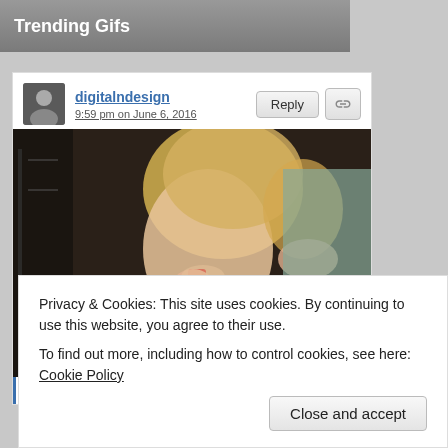Trending Gifs
digitalndesign
9:59 pm on June 6, 2016
[Figure (photo): A blonde woman talking on a red phone, smiling, with subtitle text overlay reading: YEAH, LIKE, YOU'RE GONNA DIE.]
Now trending GIF tagged the hills, 1x06, throat, the
Privacy & Cookies: This site uses cookies. By continuing to use this website, you agree to their use.
To find out more, including how to control cookies, see here: Cookie Policy
Close and accept